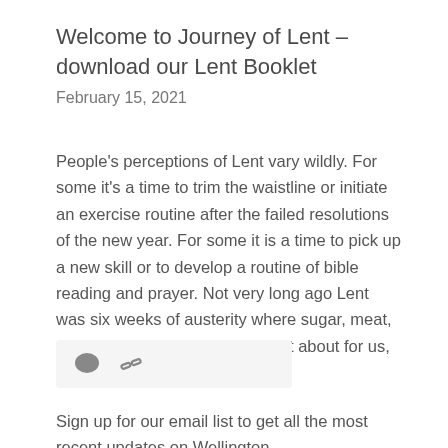Welcome to Journey of Lent – download our Lent Booklet
February 15, 2021
People's perceptions of Lent vary wildly. For some it's a time to trim the waistline or initiate an exercise routine after the failed resolutions of the new year. For some it is a time to pick up a new skill or to develop a routine of bible reading and prayer. Not very long ago Lent was six weeks of austerity where sugar, meat, and fat were forbidden. But what about for us, this year? … More
[Figure (other): Action bar with comment icon and link icon on light grey background]
Sign up for our email list to get all the most recent updates on Wellington...